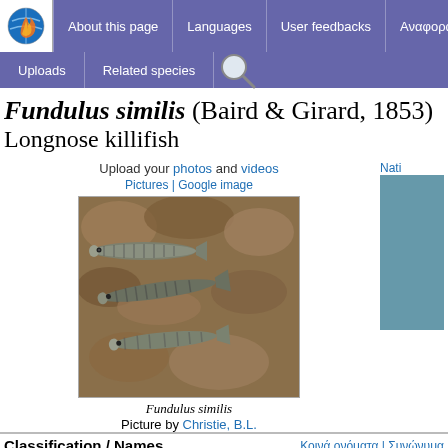About this page | Languages | User feedbacks | Αναφορά | Uploads | Related species
Fundulus similis (Baird & Girard, 1853) Longnose killifish
Upload your photos and videos
Pictures | Google image
[Figure (photo): Photo of Fundulus similis (Longnose killifish) fish on rocky substrate]
Fundulus similis
Picture by Christie, B.L.
Classification / Names
Κοινά ονόματα | Συνώνυμα
> Cyprinodontiformes (Rivulines, killifishes and live bearers) > Fu...
Etymology: Fundulus: Latin, fundus = bottom; a peculiar name for...
Atlantic coast being "the abode of the fundulus mudfish" (Ref. 45...